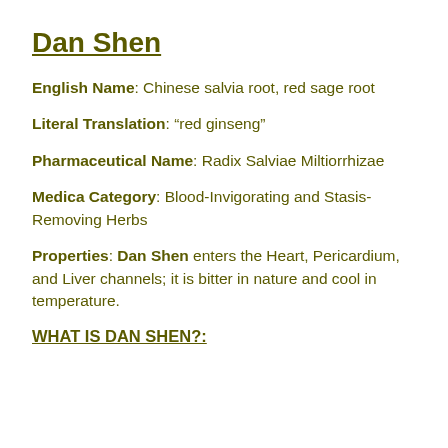Dan Shen
English Name: Chinese salvia root, red sage root
Literal Translation: “red ginseng”
Pharmaceutical Name: Radix Salviae Miltiorrhizae
Medica Category: Blood-Invigorating and Stasis-Removing Herbs
Properties: Dan Shen enters the Heart, Pericardium, and Liver channels; it is bitter in nature and cool in temperature.
WHAT IS DAN SHEN?: